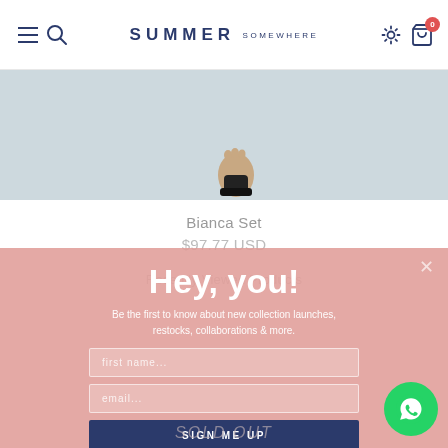SUMMER SOMEWHERE — navigation bar with hamburger menu, search, settings, and cart (0 items)
[Figure (photo): Product photo area: light blue-grey background with partial view of feet wearing dark sandals at bottom center]
Bianca Set
$97.77 USD
Recently Viewed Products
[Figure (screenshot): Pink popup overlay with email sign-up form. Contains heading 'Hey, you!', subtext 'Be the first to know about new collection launches, restocks, collaborations & more.', first name input, email input, and SIGN ME UP button]
SOLD OUT
[Figure (logo): WhatsApp contact button — green circular button with WhatsApp chat icon]